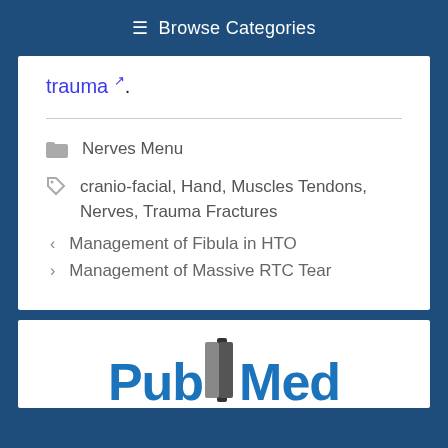≡ Browse Categories
trauma ↗.
Nerves Menu
cranio-facial, Hand, Muscles Tendons, Nerves, Trauma Fractures
< Management of Fibula in HTO
> Management of Massive RTC Tear
[Figure (logo): PubMed logo — blue text 'Pub' and 'Med' with a stylized book icon between them]